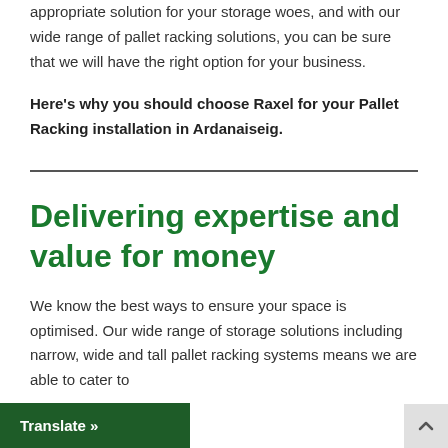appropriate solution for your storage woes, and with our wide range of pallet racking solutions, you can be sure that we will have the right option for your business.
Here's why you should choose Raxel for your Pallet Racking installation in Ardanaiseig.
Delivering expertise and value for money
We know the best ways to ensure your space is optimised. Our wide range of storage solutions including narrow, wide and tall pallet racking systems means we are able to cater to all businesses.